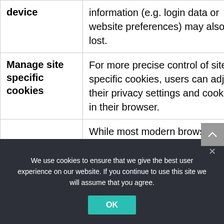| Term | Description |
| --- | --- |
| device | information (e.g. login data or website preferences) may also be lost. |
| Manage site specific cookies | For more precise control of site specific cookies, users can adjust their privacy settings and cookies in their browser. |
|  | While most modern browsers can be configured to prevent cookies from being installed on a device, this may require... |
We use cookies to ensure that we give the best user experience on our website. If you continue to use this site we will assume that you agree.